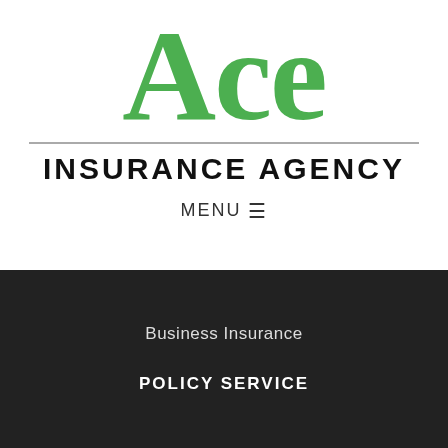[Figure (logo): Ace Insurance Agency logo: large green serif 'Ace' text above a horizontal divider line, with 'INSURANCE AGENCY' in bold black capitals below]
MENU≡
Business Insurance
POLICY SERVICE